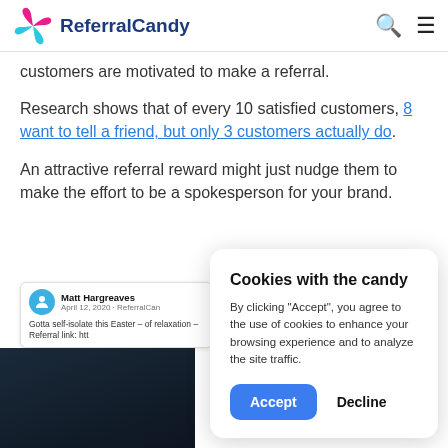ReferralCandy
customers are motivated to make a referral.
Research shows that of every 10 satisfied customers, 8 want to tell a friend, but only 3 customers actually do.
An attractive referral reward might just nudge them to make the effort to be a spokesperson for your brand.
[Figure (screenshot): Social media post by Matt Hargreaves, April 12, 2020 on ReferralCandy, text: Gotta self-isolate this Easter – of relaxation – Referral link: htt...]
Cookies with the candy
By clicking “Accept”, you agree to the use of cookies to enhance your browsing experience and to analyze the site traffic.